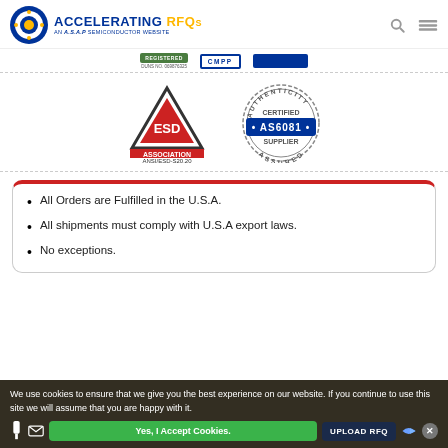ACCELERATING RFQs — AN A.S.A.P SEMICONDUCTOR WEBSITE
[Figure (logo): ESD Association ANSI/ESD-S20.20 logo and AS6081 Authenticity Certified Supplier stamp]
All Orders are Fulfilled in the U.S.A.
All shipments must comply with U.S.A export laws.
No exceptions.
We use cookies to ensure that we give you the best experience on our website. If you continue to use this site we will assume that you are happy with it.